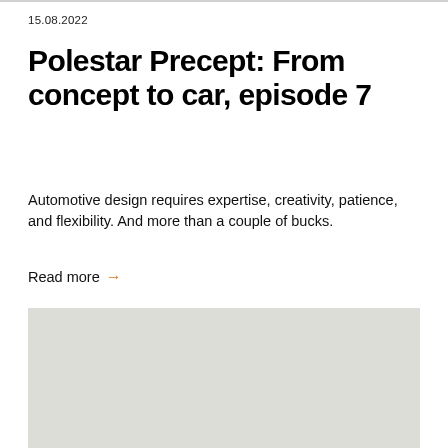15.08.2022
Polestar Precept: From concept to car, episode 7
Automotive design requires expertise, creativity, patience, and flexibility. And more than a couple of bucks.
Read more →
[Figure (photo): Light gray rectangular image placeholder]